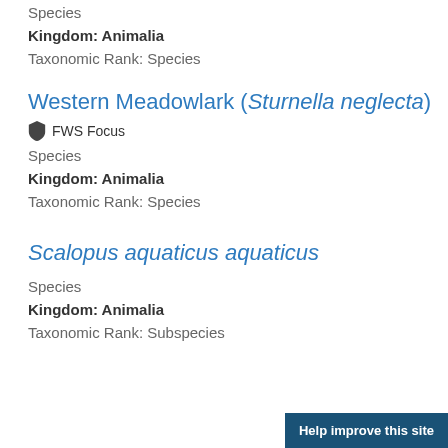Species
Kingdom: Animalia
Taxonomic Rank: Species
Western Meadowlark (Sturnella neglecta)
FWS Focus
Species
Kingdom: Animalia
Taxonomic Rank: Species
Scalopus aquaticus aquaticus
Species
Kingdom: Animalia
Taxonomic Rank: Subspecies